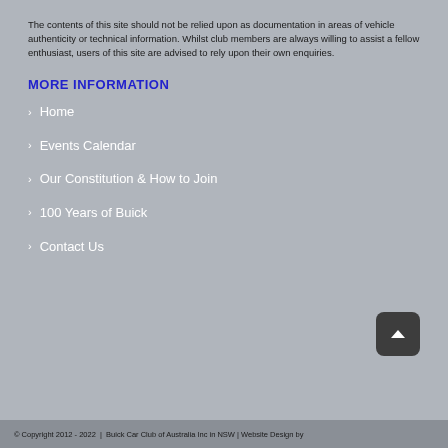The contents of this site should not be relied upon as documentation in areas of vehicle authenticity or technical information. Whilst club members are always willing to assist a fellow enthusiast, users of this site are advised to rely upon their own enquiries.
MORE INFORMATION
Home
Events Calendar
Our Constitution & How to Join
100 Years of Buick
Contact Us
© Copyright 2012 - 2022  |  Buick Car Club of Australia Inc in NSW | Website Design by